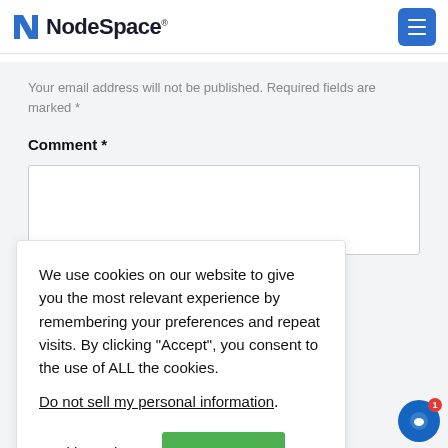NodeSpace
Your email address will not be published. Required fields are marked *
Comment *
[Figure (screenshot): Comment text area input field (empty white box)]
We use cookies on our website to give you the most relevant experience by remembering your preferences and repeat visits. By clicking “Accept”, you consent to the use of ALL the cookies.
Do not sell my personal information.
Cookie settings
ACCEPT